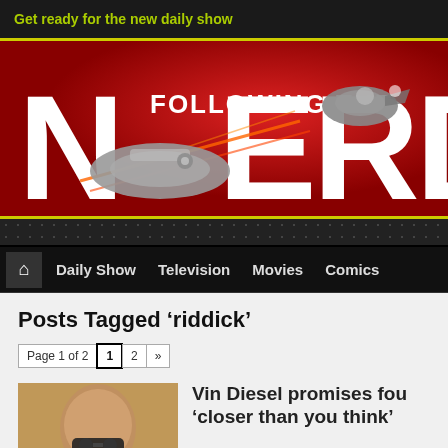Get ready for the new daily show
[Figure (logo): Following The Nerd website logo on red background with Star Wars Millennium Falcon and Boba Fett spaceship imagery]
Daily Show  Television  Movies  Comics
Posts Tagged ‘riddick’
Page 1 of 2   1   2   »
Vin Diesel promises fou... 'closer than you think'